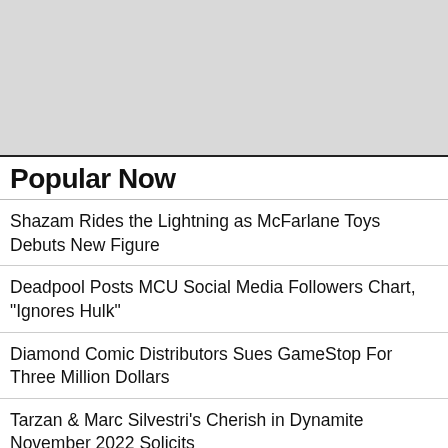[Figure (other): Gray placeholder image block at top of page]
Popular Now
Shazam Rides the Lightning as McFarlane Toys Debuts New Figure
Deadpool Posts MCU Social Media Followers Chart, "Ignores Hulk"
Diamond Comic Distributors Sues GameStop For Three Million Dollars
Tarzan & Marc Silvestri's Cherish in Dynamite November 2022 Solicits
Tom Palmer Sr. Inker Extraordinaire, Dies At The Age Of 81